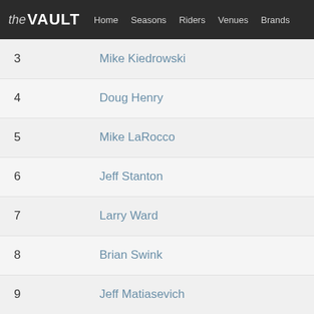the VAULT | Home | Seasons | Riders | Venues | Brands
| # | Name |
| --- | --- |
| 3 | Mike Kiedrowski |
| 4 | Doug Henry |
| 5 | Mike LaRocco |
| 6 | Jeff Stanton |
| 7 | Larry Ward |
| 8 | Brian Swink |
| 9 | Jeff Matiasevich |
| 10 | Cliff Palmer |
| 11 | Steve Lamson |
| 12 | Denny Stephenson |
| 13 | Larry Brooks |